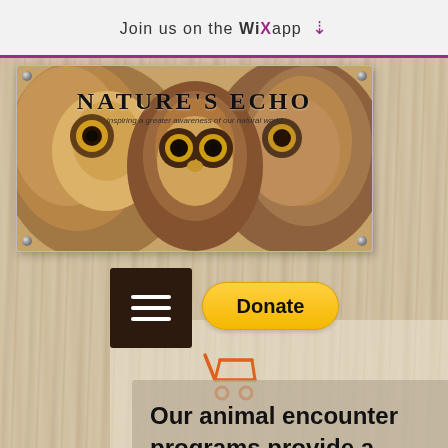Join us on the WiX app
[Figure (illustration): Nature's Echo website banner showing two owls with text 'NATURE'S ECHO — Inspiring a greater awareness of our natural world', with corner screws on a card frame]
[Figure (screenshot): Dark brown hamburger menu button with three white horizontal lines]
[Figure (screenshot): Yellow rounded Donate button]
[Figure (illustration): Orange shopping cart icon]
Our animal encounter programs provide a unique opportunity to learn about